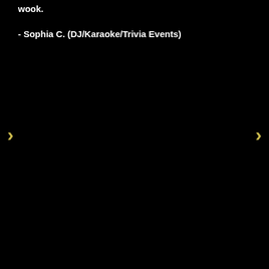wook.
- Sophia C. (DJ/Karaoke/Trivia Events)